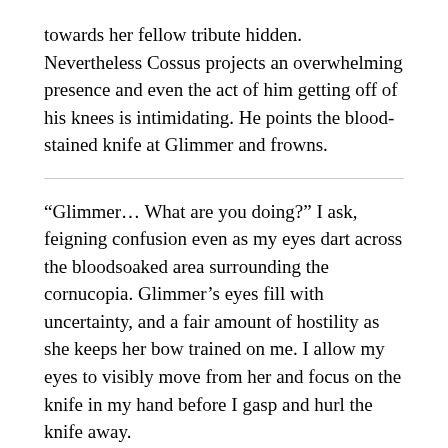towards her fellow tribute hidden. Nevertheless Cossus projects an overwhelming presence and even the act of him getting off of his knees is intimidating. He points the blood-stained knife at Glimmer and frowns.
“Glimmer… What are you doing?” I ask, feigning confusion even as my eyes dart across the bloodsoaked area surrounding the cornucopia. Glimmer’s eyes fill with uncertainty, and a fair amount of hostility as she keeps her bow trained on me. I allow my eyes to visibly move from her and focus on the knife in my hand before I gasp and hurl the knife away.
“Gosh! Damnit… Glimmer, I’m sorry, I was still in flight or fight mode.” I say, attempting to explain why I had pointed the knife at her. Her eyes grow colder as she hears me speaking, and she begins to smile cruelly. She is quite pretty, but she is also not quite aware of how much more powerful than her I really am.